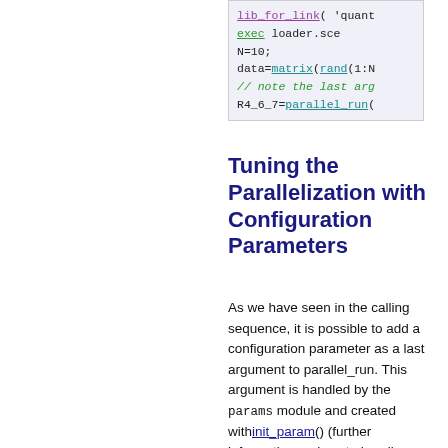[Figure (screenshot): Code snippet box showing partial code with colored syntax highlighting: lib_for_link( 'quant', exec loader.sce, N=10;, data=matrix(rand(1:N, // note the last arg, R4_6_7=parallel_run(]
Tuning the Parallelization with Configuration Parameters
As we have seen in the calling sequence, it is possible to add a configuration parameter as a last argument to parallel_run. This argument is handled by the params module and created with init_param() (further information on how to handle parameters can be found in the help pages of